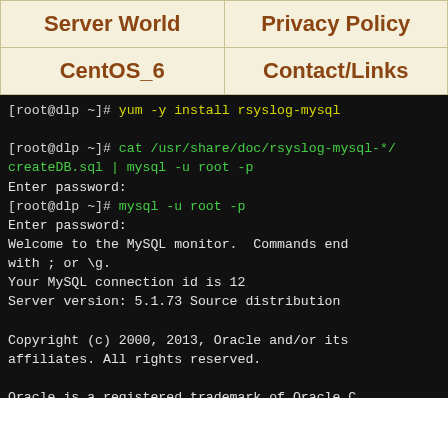| Server World | Privacy Policy |
| --- | --- |
| CentOS_6 | Contact/Links |
[root@dlp ~]# yum -y install rsyslog-mysql

[root@dlp ~]# cat /usr/share/doc/rsyslog-mysql-*/createDB.sql | mysql -u root -p
Enter password:
[root@dlp ~]# mysql -u root -p
Enter password:
Welcome to the MySQL monitor.  Commands end with ; or \g.
Your MySQL connection id is 12
Server version: 5.1.73 Source distribution

Copyright (c) 2000, 2013, Oracle and/or its affiliates. All rights reserved.

Oracle is a registered trademark of Oracle Corporation and/or its affiliates. Other names may be trademarks of their respective